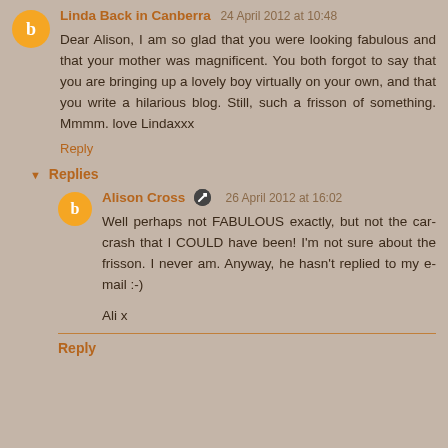Linda Back in Canberra 24 April 2012 at 10:48
Dear Alison, I am so glad that you were looking fabulous and that your mother was magnificent. You both forgot to say that you are bringing up a lovely boy virtually on your own, and that you write a hilarious blog. Still, such a frisson of something. Mmmm. love Lindaxxx
Reply
Replies
Alison Cross 26 April 2012 at 16:02
Well perhaps not FABULOUS exactly, but not the car-crash that I COULD have been! I'm not sure about the frisson. I never am. Anyway, he hasn't replied to my e-mail :-)
Ali x
Reply